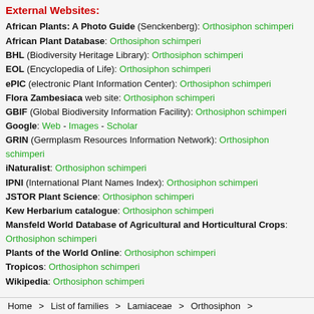External Websites:
African Plants: A Photo Guide (Senckenberg): Orthosiphon schimperi
African Plant Database: Orthosiphon schimperi
BHL (Biodiversity Heritage Library): Orthosiphon schimperi
EOL (Encyclopedia of Life): Orthosiphon schimperi
ePIC (electronic Plant Information Center): Orthosiphon schimperi
Flora Zambesiaca web site: Orthosiphon schimperi
GBIF (Global Biodiversity Information Facility): Orthosiphon schimperi
Google: Web - Images - Scholar
GRIN (Germplasm Resources Information Network): Orthosiphon schimperi
iNaturalist: Orthosiphon schimperi
IPNI (International Plant Names Index): Orthosiphon schimperi
JSTOR Plant Science: Orthosiphon schimperi
Kew Herbarium catalogue: Orthosiphon schimperi
Mansfeld World Database of Agricultural and Horticultural Crops: Orthosiphon schimperi
Plants of the World Online: Orthosiphon schimperi
Tropicos: Orthosiphon schimperi
Wikipedia: Orthosiphon schimperi
Home > List of families > Lamiaceae > Orthosiphon >